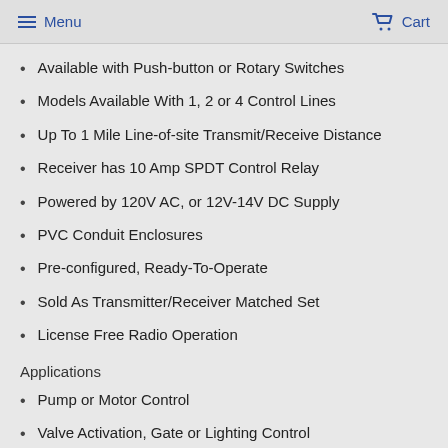Menu  Cart
Available with Push-button or Rotary Switches
Models Available With 1, 2 or 4 Control Lines
Up To 1 Mile Line-of-site Transmit/Receive Distance
Receiver has 10 Amp SPDT Control Relay
Powered by 120V AC, or 12V-14V DC Supply
PVC Conduit Enclosures
Pre-configured, Ready-To-Operate
Sold As Transmitter/Receiver Matched Set
License Free Radio Operation
Applications
Pump or Motor Control
Valve Activation, Gate or Lighting Control
Description